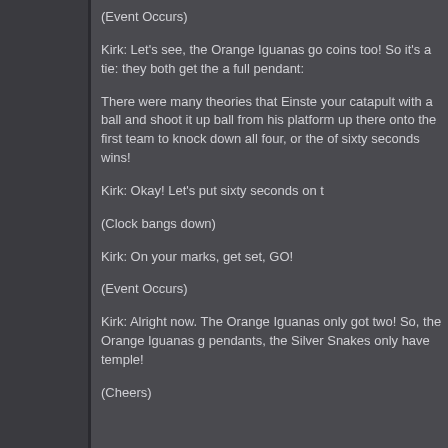(Event Occurs)
Kirk: Let's see, the Orange Iguanas go coins too! So it's a tie: they both get the a full pendant:
There were many theories that Einste your catapult with a ball and shoot it up ball from his platform up there onto the first team to knock down all four, or the of sixty seconds wins!
Kirk: Okay! Let's put sixty seconds on t
(Clock bangs down)
Kirk: On your marks, get set, GO!
(Event Occurs)
Kirk: Alright now. The Orange Iguanas only got two! So, the Orange Iguanas g pendants, the Silver Snakes only have temple!
(Cheers)